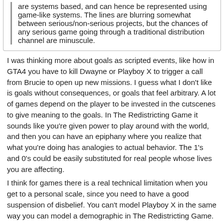are systems based, and can hence be represented using game-like systems. The lines are blurring somewhat between serious/non-serious projects, but the chances of any serious game going through a traditional distribution channel are minuscule.
I was thinking more about goals as scripted events, like how in GTA4 you have to kill Dwayne or Playboy X to trigger a call from Brucie to open up new missions. I guess what I don't like is goals without consequences, or goals that feel arbitrary. A lot of games depend on the player to be invested in the cutscenes to give meaning to the goals. In The Redistricting Game it sounds like you're given power to play around with the world, and then you can have an epiphany where you realize that what you're doing has analogies to actual behavior. The 1's and 0's could be easily substituted for real people whose lives you are affecting.
I think for games there is a real technical limitation when you get to a personal scale, since you need to have a good suspension of disbelief. You can't model Playboy X in the same way you can model a demographic in The Redistricting Game.